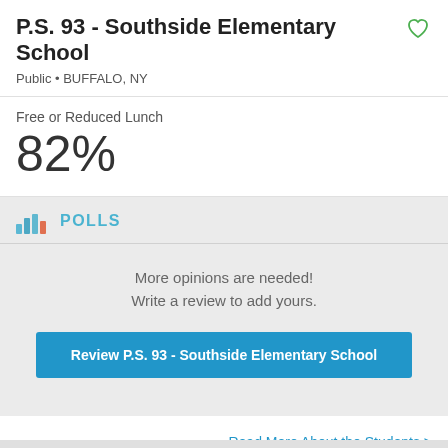P.S. 93 - Southside Elementary School
Public • BUFFALO, NY
Free or Reduced Lunch
82%
POLLS
More opinions are needed! Write a review to add yours.
Review P.S. 93 - Southside Elementary School
Read More About the Students >